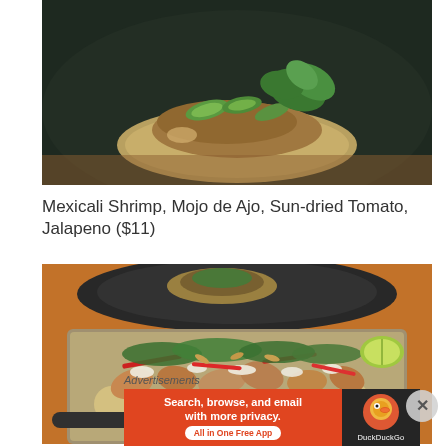[Figure (photo): Close-up photo of a taco on a dark plate, topped with green jalapeño slices and fresh cilantro on a corn tortilla]
Mexicali Shrimp, Mojo de Ajo, Sun-dried Tomato, Jalapeno ($11)
[Figure (photo): A metal serving dish filled with shrimp and potato dish garnished with crumbled white cheese, red chili slices, and fresh herbs. A dark plate with tacos visible in the background.]
Advertisements
[Figure (screenshot): DuckDuckGo advertisement banner: 'Search, browse, and email with more privacy. All in One Free App' with DuckDuckGo logo on dark background]